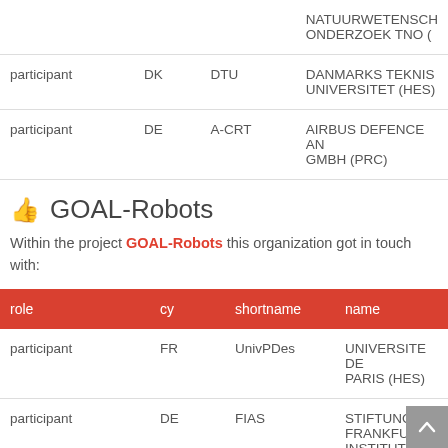| role | cy | shortname | name |
| --- | --- | --- | --- |
| participant | DK | DTU | DANMARKS TEKNISKE UNIVERSITET (HES) |
| participant | DE | A-CRT | AIRBUS DEFENCE AND SPACE GMBH (PRC) |
GOAL-Robots
Within the project GOAL-Robots this organization got in touch with:
| role | cy | shortname | name |
| --- | --- | --- | --- |
| participant | FR | UnivPDes | UNIVERSITE DE PARIS (HES) |
| participant | DE | FIAS | STIFTUNG FRANKFURT INSTITUTE FOR... |